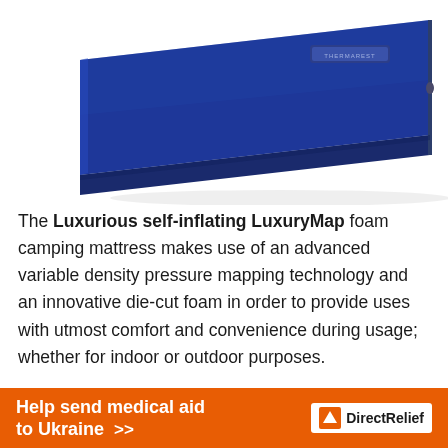[Figure (photo): A blue self-inflating camping mattress/sleeping pad photographed at an angle against a white background. The mattress is navy blue with a small logo/label visible on the top surface.]
The Luxurious self-inflating LuxuryMap foam camping mattress makes use of an advanced variable density pressure mapping technology and an innovative die-cut foam in order to provide uses with utmost comfort and convenience during usage; whether for indoor or outdoor purposes.
The sleeping mattress provides users with incredible
[Figure (infographic): Orange banner advertisement: 'Help send medical aid to Ukraine >>' with DirectRelief logo on the right side.]